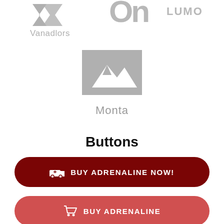[Figure (logo): Vanadlors logo: gray abstract arrow/check icon above the text 'Vanadlors' in gray]
[Figure (logo): On LUMO logo: large bold gray 'On' text with 'LUMO' beside it]
[Figure (logo): Monta logo: gray mountain/peak icon above the text 'Monta' in gray]
Buttons
[Figure (other): Dark red pill button with ambulance icon and text 'BUY ADRENALINE NOW!']
[Figure (other): Salmon/coral pill button with shopping cart icon and text 'BUY ADRENALINE']